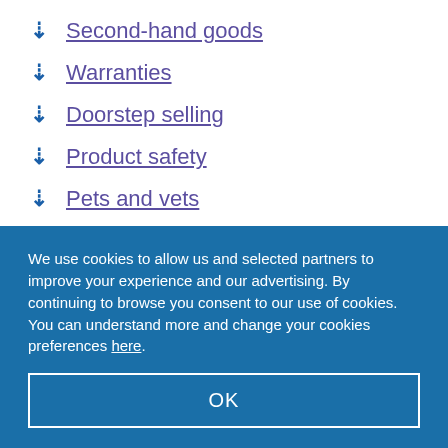Second-hand goods
Warranties
Doorstep selling
Product safety
Pets and vets
We use cookies to allow us and selected partners to improve your experience and our advertising. By continuing to browse you consent to our use of cookies. You can understand more and change your cookies preferences here.
OK